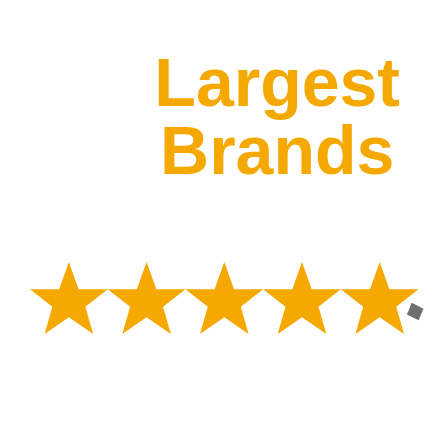Largest Brands
[Figure (illustration): Five large golden/yellow stars in a row rating icon, with the last star partially overlapping a small pencil icon on the right side]